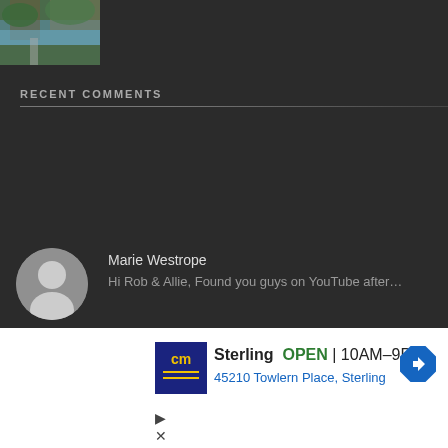[Figure (photo): Partial view of a nature/waterfall photo in the top-left corner]
RECENT COMMENTS
Marie Westrope - Hi Rob & Allie, Found you guys on YouTube after...
Robert Marmion - Nice Idea, that would be fun to do!
Dorothy E Cooley - My first experience on the Empire Builder, I brought a
[Figure (other): Advertisement for Sterling CM store: OPEN 10AM-9PM, 45210 Towlern Place, Sterling]